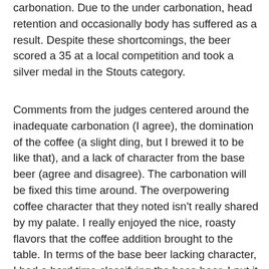carbonation. Due to the under carbonation, head retention and occasionally body has suffered as a result. Despite these shortcomings, the beer scored a 35 at a local competition and took a silver medal in the Stouts category.
Comments from the judges centered around the inadequate carbonation (I agree), the domination of the coffee (a slight ding, but I brewed it to be like that), and a lack of character from the base beer (agree and disagree). The carbonation will be fixed this time around. The overpowering coffee character that they noted isn't really shared by my palate. I really enjoyed the nice, roasty flavors that the coffee addition brought to the table. In terms of the base beer lacking character, I had a hard time classifying the base beer. I put it down as an imperial stout, but in all honesty it was a little weaker than that and I think that hurt the score. In reality, there isn't a BJCP category for a fuller flavored, higher ABV American Stout.
In this iteration, I'm going to be largely following the initial recipe with a replacement of the 2.5lb of malted oats in the old recipe to be swapped by upping the flaked oats to 5lb. I didn't really think that they added anything detectable that